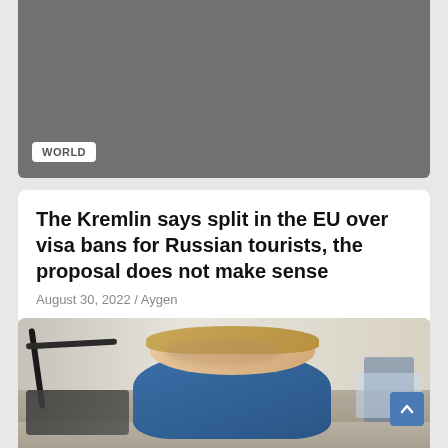[Figure (photo): Gray placeholder image with a WORLD category badge in the bottom-left corner]
WORLD
The Kremlin says split in the EU over visa bans for Russian tourists, the proposal does not make sense
August 30, 2022 / Aygen
[Figure (photo): Photo of a young toddler boy with blond hair, wearing a blue jacket, sitting in a stroller or chair in what appears to be an airport or public building hallway]